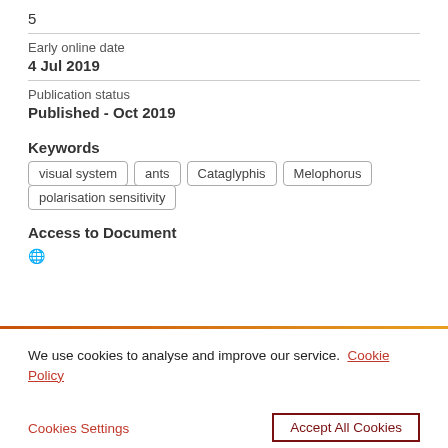5
Early online date
4 Jul 2019
Publication status
Published - Oct 2019
Keywords
visual system
ants
Cataglyphis
Melophorus
polarisation sensitivity
Access to Document
We use cookies to analyse and improve our service. Cookie Policy
Cookies Settings
Accept All Cookies